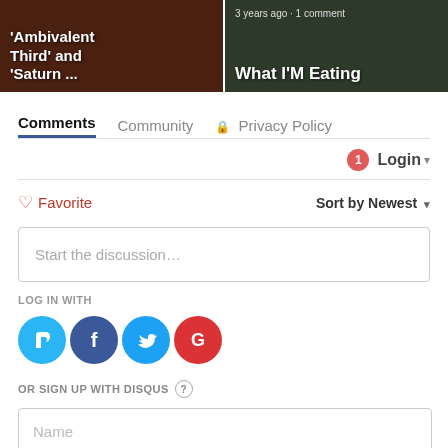[Figure (screenshot): Two thumbnail cards: left card shows dark red/brown image with bold white text 'Ambivalent Third' and 'Saturn ...'; right card shows dark green bowl image with text '3 years ago · 1 comment' and bold white text 'What I'M Eating']
Comments   Community   Privacy Policy
Login ▾
♡ Favorite   Sort by Newest ▾
Start the discussion...
LOG IN WITH
[Figure (logo): Four social login icons: Disqus (blue circle D), Facebook (dark blue f), Twitter (light blue bird), Google (red G)]
OR SIGN UP WITH DISQUS ?
Name